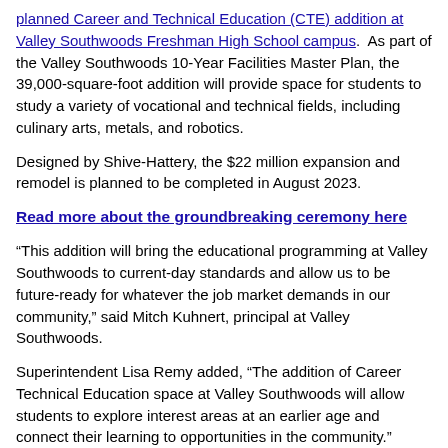planned Career and Technical Education (CTE) addition at Valley Southwoods Freshman High School campus. As part of the Valley Southwoods 10-Year Facilities Master Plan, the 39,000-square-foot addition will provide space for students to study a variety of vocational and technical fields, including culinary arts, metals, and robotics.
Designed by Shive-Hattery, the $22 million expansion and remodel is planned to be completed in August 2023.
Read more about the groundbreaking ceremony here
“This addition will bring the educational programming at Valley Southwoods to current-day standards and allow us to be future-ready for whatever the job market demands in our community,” said Mitch Kuhnert, principal at Valley Southwoods.
Superintendent Lisa Remy added, “The addition of Career Technical Education space at Valley Southwoods will allow students to explore interest areas at an earlier age and connect their learning to opportunities in the community.”